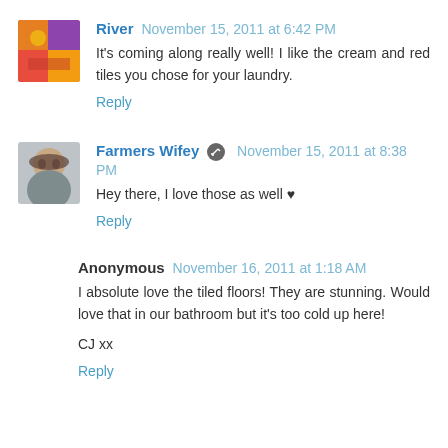River  November 15, 2011 at 6:42 PM
It's coming along really well! I like the cream and red tiles you chose for your laundry.
Reply
Farmers Wifey  November 15, 2011 at 8:38 PM
Hey there, I love those as well ♥
Reply
Anonymous  November 16, 2011 at 1:18 AM
I absolute love the tiled floors! They are stunning. Would love that in our bathroom but it's too cold up here!
CJ xx
Reply